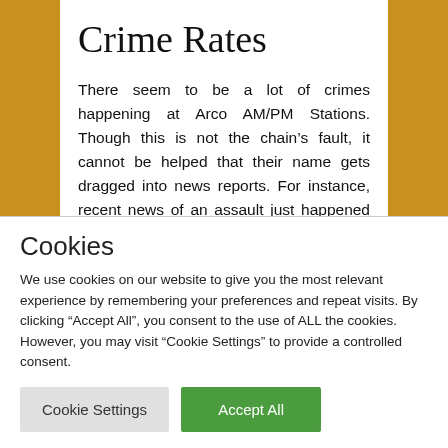Crime Rates
There seem to be a lot of crimes happening at Arco AM/PM Stations. Though this is not the chain’s fault, it cannot be helped that their name gets dragged into news reports. For instance, recent news of an assault just happened at an Arco AM/PM Station in Turlock.
See Also: Lassi Dav Cafe Franchise In India
Cookies
We use cookies on our website to give you the most relevant experience by remembering your preferences and repeat visits. By clicking “Accept All”, you consent to the use of ALL the cookies. However, you may visit "Cookie Settings" to provide a controlled consent.
Cookie Settings | Accept All